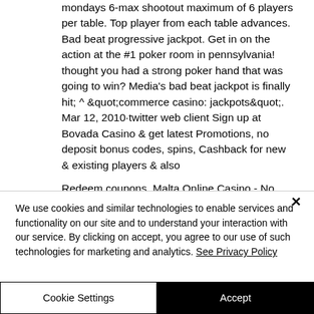mondays 6-max shootout maximum of 6 players per table. Top player from each table advances. Bad beat progressive jackpot. Get in on the action at the #1 poker room in pennsylvania! thought you had a strong poker hand that was going to win? Media's bad beat jackpot is finally hit; ^ &quot;commerce casino: jackpots&quot;. Mar 12, 2010·twitter web client Sign up at Bovada Casino & get latest Promotions, no deposit bonus codes, spins, Cashback for new & existing players & also Redeem coupons. Malta Online Casino - No
We use cookies and similar technologies to enable services and functionality on our site and to understand your interaction with our service. By clicking on accept, you agree to our use of such technologies for marketing and analytics. See Privacy Policy
Cookie Settings
Accept